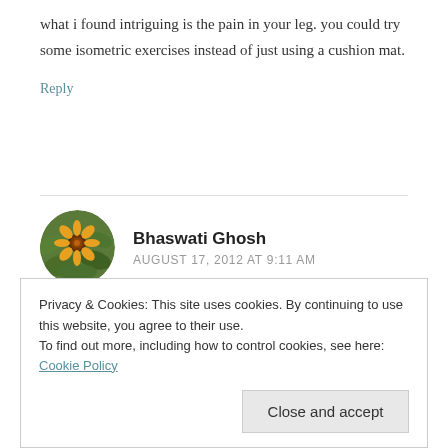what i found intriguing is the pain in your leg. you could try some isometric exercises instead of just using a cushion mat.
Reply
Bhaswati Ghosh
AUGUST 17, 2012 AT 9:11 AM
Thanks for the suggestion, Rahul. I have been
Privacy & Cookies: This site uses cookies. By continuing to use this website, you agree to their use. To find out more, including how to control cookies, see here: Cookie Policy
Close and accept
exercise and medicine. No harm trying them out,